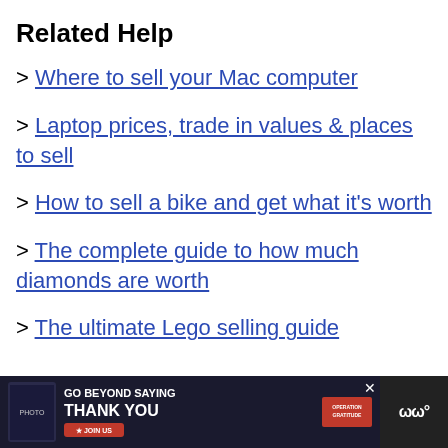Related Help
> Where to sell your Mac computer
> Laptop prices, trade in values & places to sell
> How to sell a bike and get what it's worth
> The complete guide to how much diamonds are worth
> The ultimate Lego selling guide
[Figure (infographic): Advertisement banner at bottom of page: 'GO BEYOND SAYING THANK YOU' with Operation Gratitude logo and JOIN US button, overlaid on a dark footer bar]